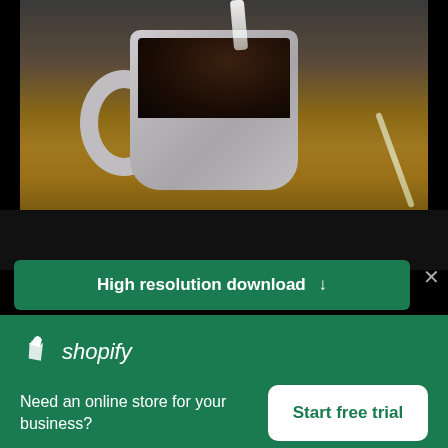[Figure (photo): Photo of a ceramic mug with dark coffee and milk being poured in, sitting on a wooden table with a spoon nearby, dark background]
Coffee With Milk
High resolution download ↓
[Figure (logo): Shopify logo: shopping bag icon and italic 'shopify' text in white]
Need an online store for your business?
Start free trial